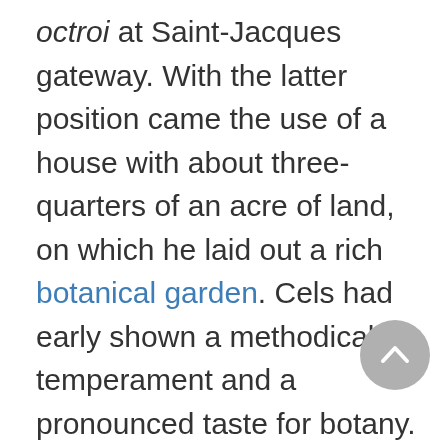octroi at Saint-Jacques gateway. With the latter position came the use of a house with about three-quarters of an acre of land, on which he laid out a rich botanical garden. Cels had early shown a methodical temperament and a pronounced taste for botany. He studied under Bernard de Jussieu and Louis-Guillaume Le Monnier, and he was sympathetic to the ideas of Rousseau.